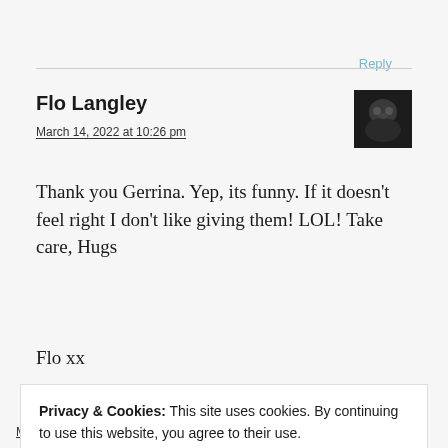Reply
Flo Langley
March 14, 2022 at 10:26 pm
Thank you Gerrina. Yep, its funny. If it doesn't feel right I don't like giving them! LOL! Take care, Hugs Flo xx
Privacy & Cookies: This site uses cookies. By continuing to use this website, you agree to their use.
To find out more, including how to control cookies, see here: Cookie Policy
Close and accept
March 13, 2022 at 5:20 pm